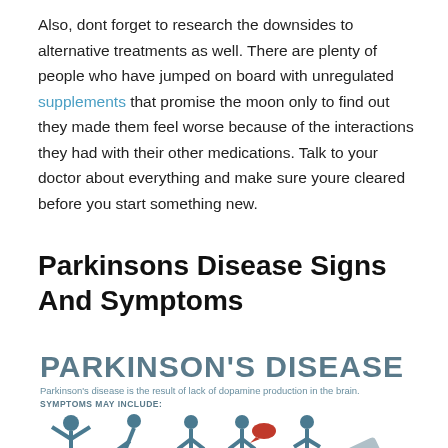Also, dont forget to research the downsides to alternative treatments as well. There are plenty of people who have jumped on board with unregulated supplements that promise the moon only to find out they made them feel worse because of the interactions they had with their other medications. Talk to your doctor about everything and make sure youre cleared before you start something new.
Parkinsons Disease Signs And Symptoms
[Figure (infographic): Parkinson's Disease infographic showing title 'PARKINSON'S DISEASE', subtitle text about dopamine, 'SYMPTOMS MAY INCLUDE:' label, and a row of icon figures depicting various symptoms including tremors, stooped posture, rigid stance, speech issues, balance problems, and writing difficulty.]